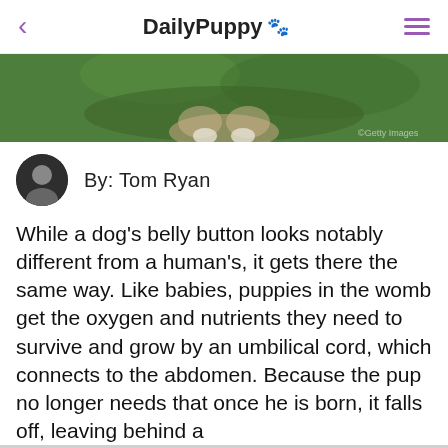DailyPuppy 🐾
[Figure (photo): A puppy photographed on green grass, seen from behind/low angle. Watermark text visible in lower right corner.]
By: Tom Ryan
While a dog's belly button looks notably different from a human's, it gets there the same way. Like babies, puppies in the womb get the oxygen and nutrients they need to survive and grow by an umbilical cord, which connects to the abdomen. Because the pup no longer needs that once he is born, it falls off, leaving behind a mark on his belly that he'll have his whole life.